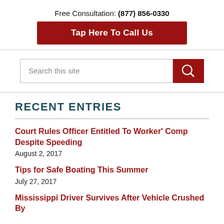Free Consultation: (877) 856-0330
Tap Here To Call Us
Search this site
RECENT ENTRIES
Court Rules Officer Entitled To Worker' Comp Despite Speeding
August 2, 2017
Tips for Safe Boating This Summer
July 27, 2017
Mississippi Driver Survives After Vehicle Crushed By